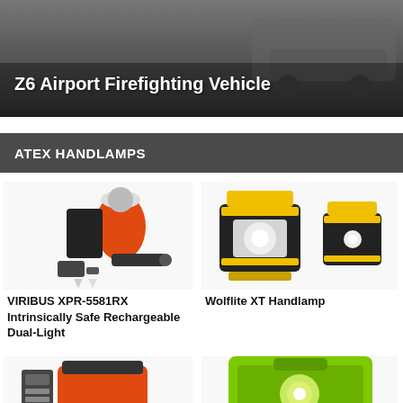[Figure (photo): Z6 Airport Firefighting Vehicle - dark background product image]
Z6 Airport Firefighting Vehicle
ATEX HANDLAMPS
[Figure (photo): VIRIBUS XPR-5581RX Intrinsically Safe Rechargeable Dual-Light product image with accessories]
VIRIBUS XPR-5581RX Intrinsically Safe Rechargeable Dual-Light
[Figure (photo): Wolflite XT Handlamp product image - two yellow and black handlamps]
Wolflite XT Handlamp
[Figure (photo): Bottom left product image - orange handlamp partially visible]
[Figure (photo): Bottom right product image - green handlamp partially visible]